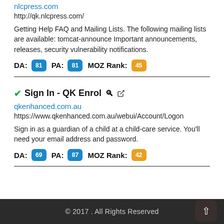nlcpress.com
http://qk.nlcpress.com/
Getting Help FAQ and Mailing Lists. The following mailing lists are available: tomcat-announce Important announcements, releases, security vulnerability notifications.
DA: 81 PA: 81 MOZ Rank: 45
✔Sign In - QK Enrol 🔗
qkenhanced.com.au
https://www.qkenhanced.com.au/webui/Account/Logon
Sign in as a guardian of a child at a child-care service. You'll need your email address and password.
DA: 69 PA: 87 MOZ Rank: 42
© 2017 . All Rights Reserved